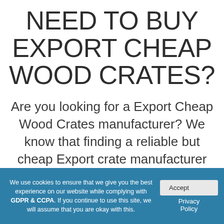NEED TO BUY EXPORT CHEAP WOOD CRATES?
Are you looking for a Export Cheap Wood Crates manufacturer? We know that finding a reliable but cheap Export crate manufacturer can be a
We use cookies to ensure that we give you the best experience on our website while complying with GDPR & CCPA. If you continue to use this site, we will assume that you are okay with this.